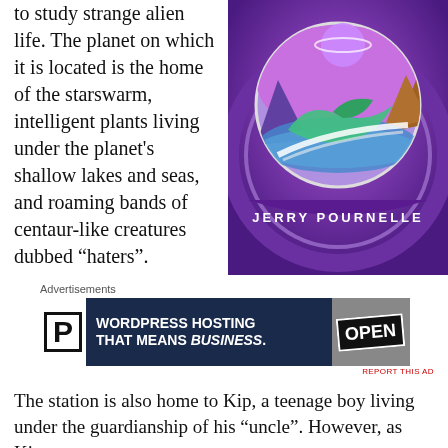to study strange alien life. The planet on which it is located is the home of the starswarm, intelligent plants living under the planet's shallow lakes and seas, and roaming bands of centaur-like creatures dubbed “haters”.
[Figure (illustration): Book cover with purple background featuring a circular scene of alien landscape with a dragon-like creature, mountains and a planet in the sky. Author name JERRY POURNELLE written in arc at the bottom.]
Advertisements
[Figure (screenshot): Advertisement banner: WordPress hosting that means BUSINESS. Shows P logo on white, text on dark navy background, and an OPEN sign image on the right.]
The station is also home to Kip, a teenage boy living under the guardianship of his “uncle”. However, as Kip